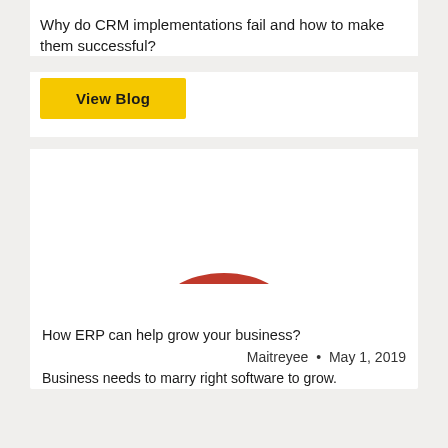Why do CRM implementations fail and how to make them successful?
View Blog
[Figure (illustration): Partial red semicircle/arc shape visible at top of second card, resembling the top of a circular logo or image.]
How ERP can help grow your business?
Maitreyee • May 1, 2019
Business needs to marry right software to grow.